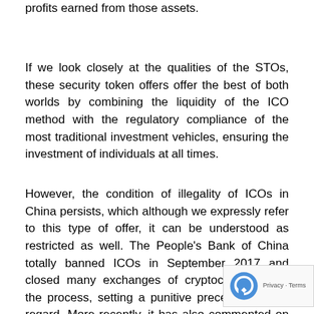securities to assets and allow investors to buy a portion of the profits earned from those assets.
If we look closely at the qualities of the STOs, these security token offers offer the best of both worlds by combining the liquidity of the ICO method with the regulatory compliance of the most traditional investment vehicles, ensuring the investment of individuals at all times.
However, the condition of illegality of ICOs in China persists, which although we expressly refer to this type of offer, it can be understood as restricted as well. The People's Bank of China totally banned ICOs in September 2017 and closed many exchanges of cryptocurrencies in the process, setting a punitive precedent in this regard. More recently, it has also commented on airdrops, which are free dra... cryptocurrency tokens, usually as rewards for accomp... certain number of tasks.